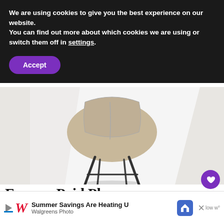We are using cookies to give you the best experience on our website.
You can find out more about which cookies we are using or switch them off in settings.
Accept
[Figure (photo): Photo of a modern chair (beige/cream seat with black metal legs) against a white background, cropped to show the seat and upper leg area.]
Free vs. Paid Plans
WHAT'S NEXT → 20 Zero Waste Halloween...
Dashlane has a free version that you can use on one device. However, I pay a small annual fee to...
Summer Savings Are Heating U Walgreens Photo